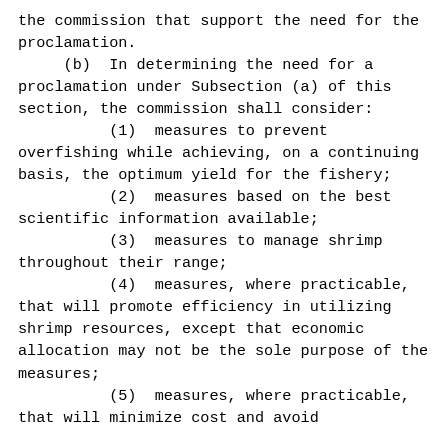the commission that support the need for the proclamation.
(b)  In determining the need for a proclamation under Subsection (a) of this section, the commission shall consider:
(1)  measures to prevent overfishing while achieving, on a continuing basis, the optimum yield for the fishery;
(2)  measures based on the best scientific information available;
(3)  measures to manage shrimp throughout their range;
(4)  measures, where practicable, that will promote efficiency in utilizing shrimp resources, except that economic allocation may not be the sole purpose of the measures;
(5)  measures, where practicable, that will minimize cost and avoid